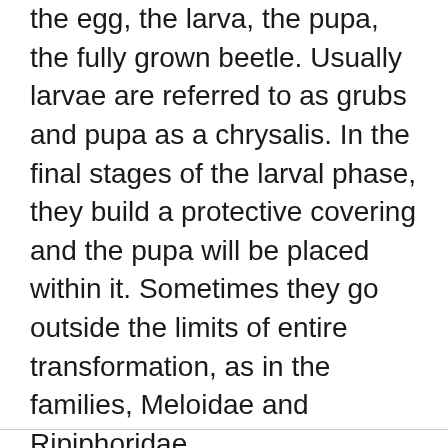the egg, the larva, the pupa, the fully grown beetle. Usually larvae are referred to as grubs and pupa as a chrysalis. In the final stages of the larval phase, they build a protective covering and the pupa will be placed within it. Sometimes they go outside the limits of entire transformation, as in the families, Meloidae and Ripiphoridae.